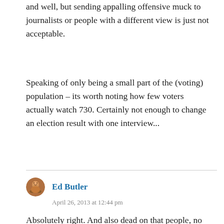and well, but sending appalling offensive muck to journalists or people with a different view is just not acceptable.
Speaking of only being a small part of the (voting) population – its worth noting how few voters actually watch 730. Certainly not enough to change an election result with one interview...
Ed Butler
April 26, 2013 at 12:44 pm
Absolutely right. And also dead on that people, no matter how ineffectual and